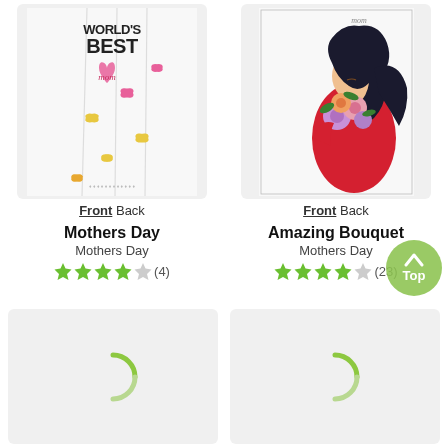[Figure (illustration): Greeting card front showing butterflies and 'World's Best Mom' text on white background]
Front Back
Mothers Day
Mothers Day
★★★★☆ (4)
[Figure (illustration): Greeting card front showing a woman with dark hair holding a colorful bouquet of flowers, with 'mom' text at top]
Front Back
Amazing Bouquet
Mothers Day
★★★★☆ (23)
[Figure (illustration): Loading spinner on light grey background]
[Figure (illustration): Loading spinner on light grey background]